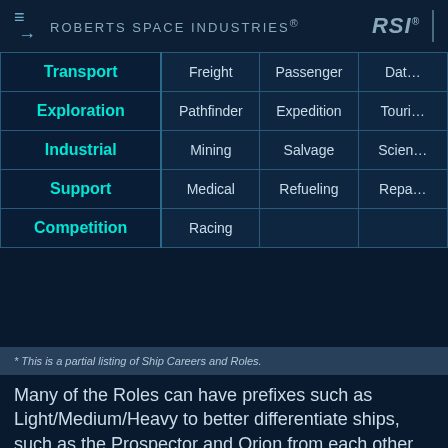ROBERTS SPACE INDUSTRIES®  RSI®
| Career | Role 1 | Role 2 | Role 3 |
| --- | --- | --- | --- |
| Transport | Freight | Passenger | Dat… |
| Exploration | Pathfinder | Expedition | Touri… |
| Industrial | Mining | Salvage | Scien… |
| Support | Medical | Refueling | Repa… |
| Competition | Racing |  |  |
* This is a partial listing of Ship Careers and Roles.
Many of the Roles can have prefixes such as Light/Medium/Heavy to better differentiate ships, such as the Prospector and Orion from each other as they are very different mining ships. Combat ships also benefit from this as the Gladius (Light Fighter) and Hornet F7C (Medium Fighter) would end up being considered as direct competitors otherwise.